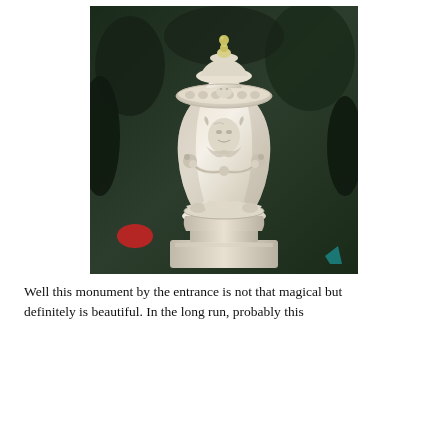[Figure (photo): A large ornate white marble decorative urn or vase on a pedestal, featuring carved faces, floral swag garlands, lion head decorations, and egg-and-dart molding around the rim. The urn is photographed outdoors in a garden setting with dark green trees and foliage in the background.]
Well this monument by the entrance is not that magical but definitely is beautiful. In the long run, probably this